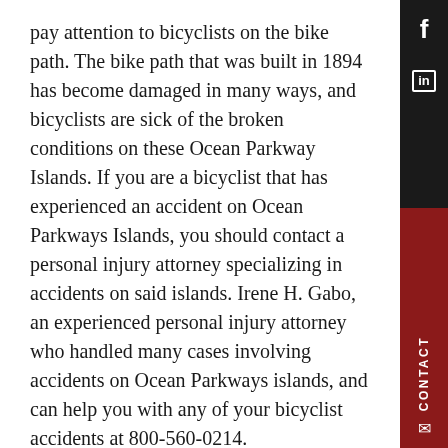pay attention to bicyclists on the bike path. The bike path that was built in 1894 has become damaged in many ways, and bicyclists are sick of the broken conditions on these Ocean Parkway Islands. If you are a bicyclist that has experienced an accident on Ocean Parkways Islands, you should contact a personal injury attorney specializing in accidents on said islands. Irene H. Gabo, an experienced personal injury attorney who handled many cases involving accidents on Ocean Parkways islands, and can help you with any of your bicyclist accidents at 800-560-0214.
What Are the Dangers of Ocean Parkways Islands?
Locals have complained of the broken bike path on Ocean Parkways Islands for years. The bike path ha